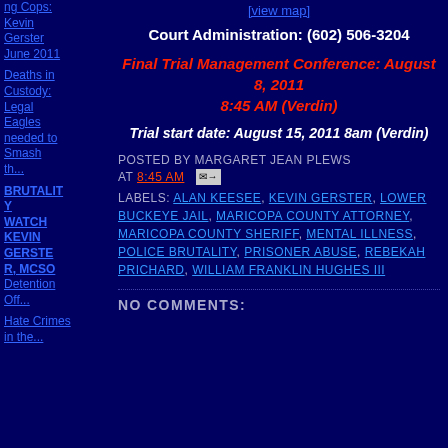ng Cops: Kevin Gerster June 2011
[view map]
Court Administration: (602) 506-3204
Final Trial Management Conference: August 8, 2011 8:45 AM (Verdin)
Trial start date: August 15, 2011 8am (Verdin)
Deaths in Custody: Legal Eagles needed to Smash th...
BRUTALITY WATCH KEVIN GERSTER, MCSO Detention Off...
POSTED BY MARGARET JEAN PLEWS AT 8:45 AM
LABELS: ALAN KEESEE, KEVIN GERSTER, LOWER BUCKEYE JAIL, MARICOPA COUNTY ATTORNEY, MARICOPA COUNTY SHERIFF, MENTAL ILLNESS, POLICE BRUTALITY, PRISONER ABUSE, REBEKAH PRICHARD, WILLIAM FRANKLIN HUGHES III
Hate Crimes in the...
NO COMMENTS: